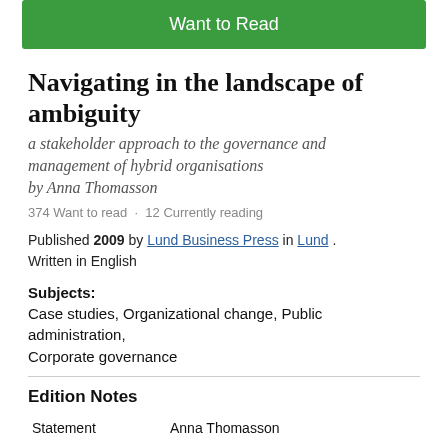[Figure (other): Green 'Want to Read' button]
Navigating in the landscape of ambiguity
a stakeholder approach to the governance and management of hybrid organisations
by Anna Thomasson
374 Want to read · 12 Currently reading
Published 2009 by Lund Business Press in Lund . Written in English
Subjects: Case studies, Organizational change, Public administration, Corporate governance
Edition Notes
|  |  |
| --- | --- |
| Statement | Anna Thomasson |
|  | Lund studies in economics and management -- |
| Series | 110. Lund studies in economics and management |